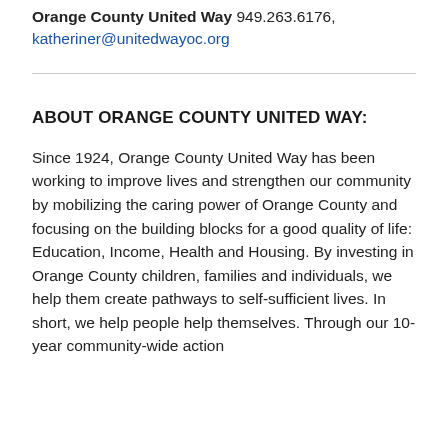Orange County United Way 949.263.6176, katheriner@unitedwayoc.org
ABOUT ORANGE COUNTY UNITED WAY:
Since 1924, Orange County United Way has been working to improve lives and strengthen our community by mobilizing the caring power of Orange County and focusing on the building blocks for a good quality of life: Education, Income, Health and Housing. By investing in Orange County children, families and individuals, we help them create pathways to self-sufficient lives. In short, we help people help themselves. Through our 10-year community-wide action